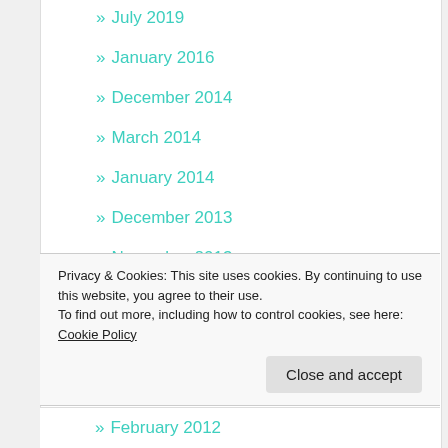» July 2019
» January 2016
» December 2014
» March 2014
» January 2014
» December 2013
» November 2013
» October 2013
» September 2013
» August 2013
» March 2013
Privacy & Cookies: This site uses cookies. By continuing to use this website, you agree to their use.
To find out more, including how to control cookies, see here: Cookie Policy
» February 2012